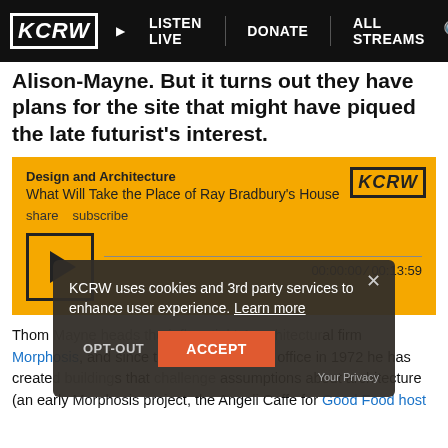KCRW | LISTEN LIVE | DONATE | ALL STREAMS
Alison-Mayne. But it turns out they have plans for the site that might have piqued the late futurist's interest.
[Figure (screenshot): KCRW audio player widget on yellow background showing 'Design and Architecture' category, title 'What Will Take the Place of Ray Bradbury's House', share and subscribe links, play button, progress bar, and time display 00:00:00 / 00:13:59]
[Figure (screenshot): Cookie consent banner overlay with dark background: 'KCRW uses cookies and 3rd party services to enhance user experience. Learn more' with OPT-OUT and ACCEPT buttons and Your Privacy label]
Thom Mayne heads the influential LA architectural firm Morphosis, and since the founding of the office in 1972 he has created buildings that challenge assumptions about architecture (an early Morphosis project, the Angeli Caffe for Good Food host